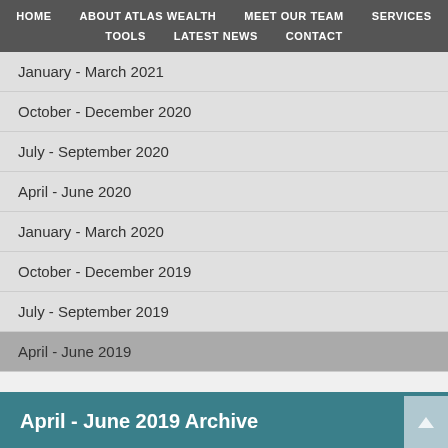HOME | ABOUT ATLAS WEALTH | MEET OUR TEAM | SERVICES | TOOLS | LATEST NEWS | CONTACT
January - March 2021
October - December 2020
July - September 2020
April - June 2020
January - March 2020
October - December 2019
July - September 2019
April - June 2019
April - June 2019 Archive
Recession on our mind